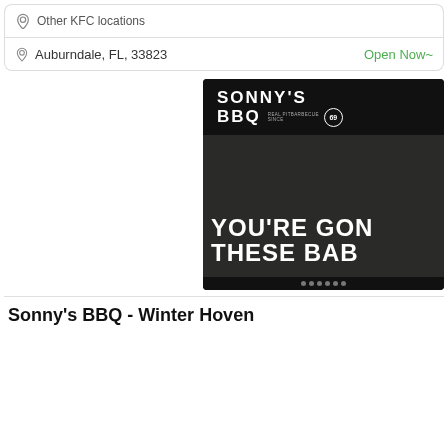Other KFC locations
Auburndale, FL, 33823
Open Now~
[Figure (photo): Sonny's BBQ restaurant promotional image showing the Sonny's BBQ logo at the top on a dark background, with partial text reading 'YOU'RE GON THESE BAB' at the bottom in large white bold letters]
Sonny's BBQ - Winter Hoven